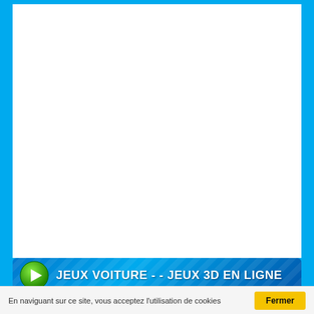[Figure (screenshot): Blue-bordered webpage with white content area, a blue banner reading 'JEUX VOITURE - - JEUX 3D EN LIGNE' with a green play button icon, thumbnail strip below, and a cookie consent bar at the bottom with 'Fermer' button]
JEUX VOITURE - - JEUX 3D EN LIGNE
En naviguant sur ce site, vous acceptez l'utilisation de cookies
Fermer